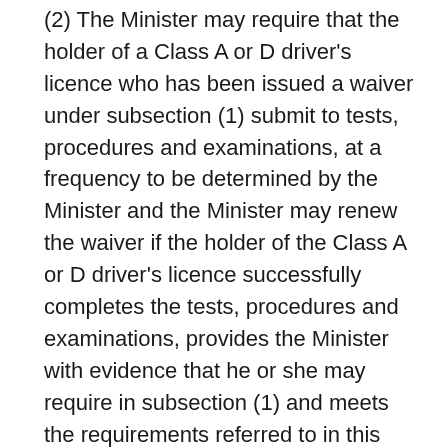(2) The Minister may require that the holder of a Class A or D driver's licence who has been issued a waiver under subsection (1) submit to tests, procedures and examinations, at a frequency to be determined by the Minister and the Minister may renew the waiver if the holder of the Class A or D driver's licence successfully completes the tests, procedures and examinations, provides the Minister with evidence that he or she may require in subsection (1) and meets the requirements referred to in this section. O. Reg. 306/96, s. 1.
(3) It is a condition of a Class A or D driver's licence for which the holder received a waiver under subsection (1) that the holder submit to tests related to the qualifications waived as such